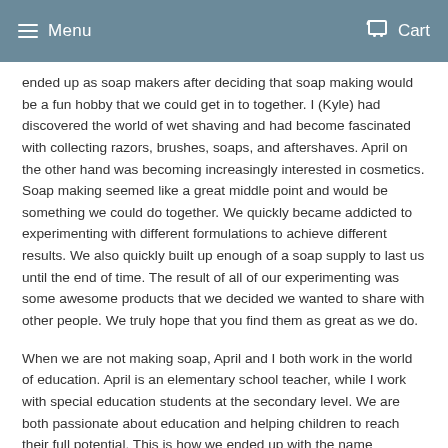Menu   Cart
ended up as soap makers after deciding that soap making would be a fun hobby that we could get in to together. I (Kyle) had discovered the world of wet shaving and had become fascinated with collecting razors, brushes, soaps, and aftershaves. April on the other hand was becoming increasingly interested in cosmetics. Soap making seemed like a great middle point and would be something we could do together. We quickly became addicted to experimenting with different formulations to achieve different results. We also quickly built up enough of a soap supply to last us until the end of time. The result of all of our experimenting was some awesome products that we decided we wanted to share with other people. We truly hope that you find them as great as we do.
When we are not making soap, April and I both work in the world of education. April is an elementary school teacher, while I work with special education students at the secondary level. We are both passionate about education and helping children to reach their full potential. This is how we ended up with the name Summer Break Soaps. More will on the theme of education on the rest of the...